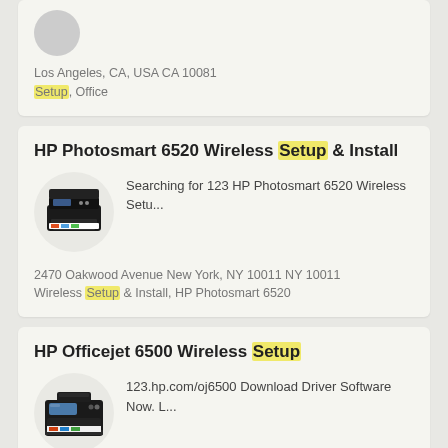Los Angeles, CA, USA CA 10081
Setup, Office
HP Photosmart 6520 Wireless Setup & Install
[Figure (photo): HP Photosmart 6520 printer image in a circular frame]
Searching for 123 HP Photosmart 6520 Wireless Setu...
2470 Oakwood Avenue New York, NY 10011 NY 10011
Wireless Setup & Install, HP Photosmart 6520
HP Officejet 6500 Wireless Setup
[Figure (photo): HP Officejet 6500 printer image in a circular frame]
123.hp.com/oj6500 Download Driver Software Now. L...